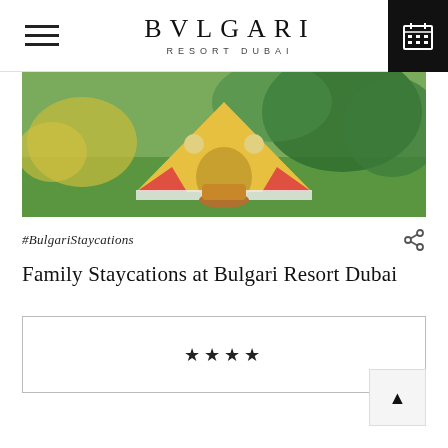BVLGARI RESORT DUBAI
[Figure (photo): A colorful children's play tent set up on a green grass lawn with yellow flowers and foliage in the background. The tent is yellow with red and orange panels.]
#BulgariStaycations
Family Staycations at Bulgari Resort Dubai
★★★★
[Figure (other): Back to top arrow button in bottom right corner]